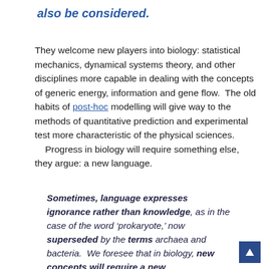also be considered.
They welcome new players into biology: statistical mechanics, dynamical systems theory, and other disciplines more capable in dealing with the concepts of generic energy, information and gene flow.  The old habits of post-hoc modelling will give way to the methods of quantitative prediction and experimental test more characteristic of the physical sciences.
    Progress in biology will require something else, they argue: a new language.
Sometimes, language expresses ignorance rather than knowledge, as in the case of the word ‘prokaryote,’ now superseded by the terms archaea and bacteria.  We foresee that in biology, new concepts will require a new